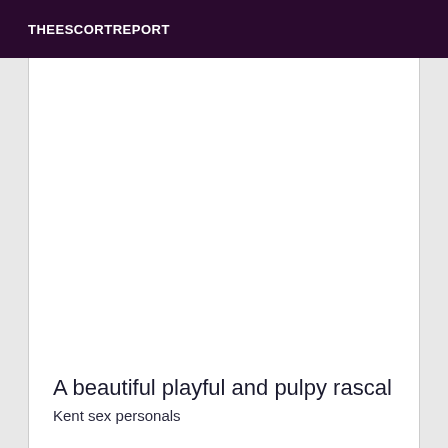THEESCORTREPORT
A beautiful playful and pulpy rascal
Kent sex personals